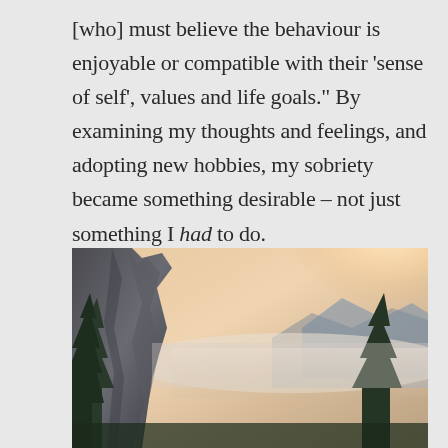[who] must believe the behaviour is enjoyable or compatible with their 'sense of self', values and life goals." By examining my thoughts and feelings, and adopting new hobbies, my sobriety became something desirable – not just something I had to do.
[Figure (photo): Landscape photograph of a dramatic mountain cliff face on the left with tall pine trees in the foreground, set against a misty valley and warm glowing sunset sky with soft orange and pink hues. The scene resembles Yosemite Valley.]